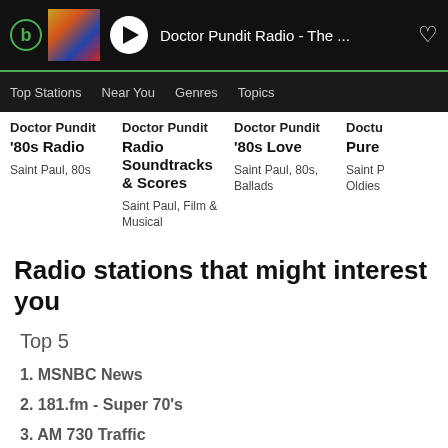[Figure (screenshot): App player bar showing Doctor Pundit Radio playing, with logo, album art, play button, station name, and heart icon]
Top Stations   Near You   Genres   Topics
Doctor Pundit '80s Radio
Saint Paul, 80s
Doctor Pundit Radio Soundtracks & Scores
Saint Paul, Film & Musical
Doctor Pundit '80s Love
Saint Paul, 80s, Ballads
Docto Pure
Saint P Oldies
Radio stations that might interest you
Top 5
1. MSNBC News
2. 181.fm - Super 70's
3. AM 730 Traffic